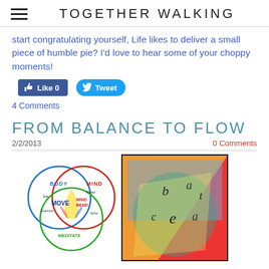TOGETHER WALKING
start congratulating yourself, Life likes to deliver a small piece of humble pie? I'd love to hear some of your choppy moments!
[Figure (screenshot): Facebook Like button (0 likes) and Twitter Tweet button]
4 Comments
FROM BALANCE TO FLOW
2/2/2013
0 Comments
[Figure (photo): Two images side by side: a Venn diagram with BODY, MIND, SPIRIT/SOUL circles intersecting with labels MOVE, MIND BEND, MEDITATE and food/exercise/read/write text; and a colorful abstract painting with letters b, a, e, c, a visible]